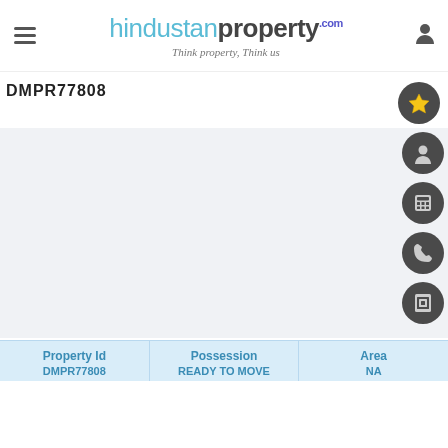hindustan property - Think property, Think us
DMPR77808
[Figure (screenshot): Large light gray image placeholder area for property photo]
| Property Id | Possession | Area |
| --- | --- | --- |
| DMPR77808 | READY TO MOVE | NA |